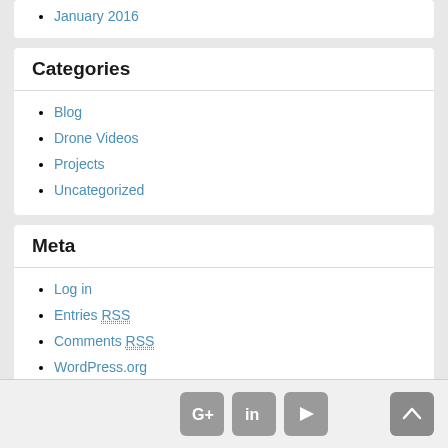January 2016
Categories
Blog
Drone Videos
Projects
Uncategorized
Meta
Log in
Entries RSS
Comments RSS
WordPress.org
[Figure (illustration): Footer with social media icons: Google+, LinkedIn, YouTube, and a back-to-top arrow button]